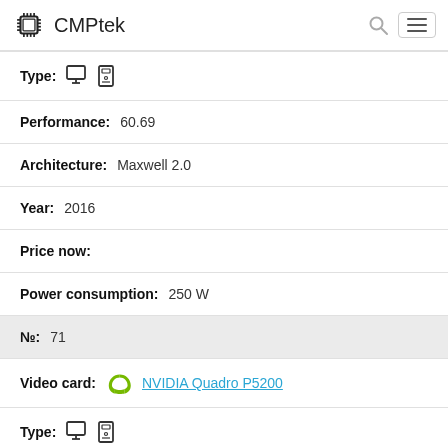CMPtek
Type: [desktop+tower icons]
Performance: 60.69
Architecture: Maxwell 2.0
Year: 2016
Price now:
Power consumption: 250 W
№: 71
Video card: NVIDIA Quadro P5200
Type: [icons]